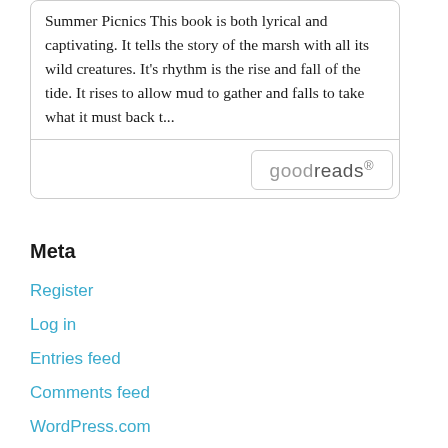Summer Picnics This book is both lyrical and captivating. It tells the story of the marsh with all its wild creatures. It's rhythm is the rise and fall of the tide. It rises to allow mud to gather and falls to take what it must back t...
[Figure (logo): Goodreads logo in a rounded rectangle box]
Meta
Register
Log in
Entries feed
Comments feed
WordPress.com